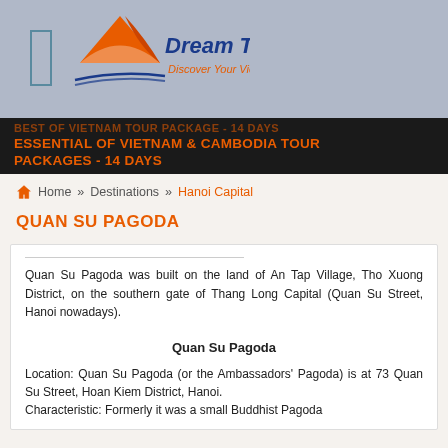[Figure (logo): Dream Travel logo with orange arrow/wing graphic and text 'Dream Travel - Discover Your Vietnam']
ESSENTIAL OF VIETNAM & CAMBODIA TOUR PACKAGES - 14 DAYS
Home » Destinations » Hanoi Capital
QUAN SU PAGODA
Quan Su Pagoda was built on the land of An Tap Village, Tho Xuong District, on the southern gate of Thang Long Capital (Quan Su Street, Hanoi nowadays).
Quan Su Pagoda
Location: Quan Su Pagoda (or the Ambassadors' Pagoda) is at 73 Quan Su Street, Hoan Kiem District, Hanoi.
Characteristic: Formerly it was a small Buddhist Pagoda